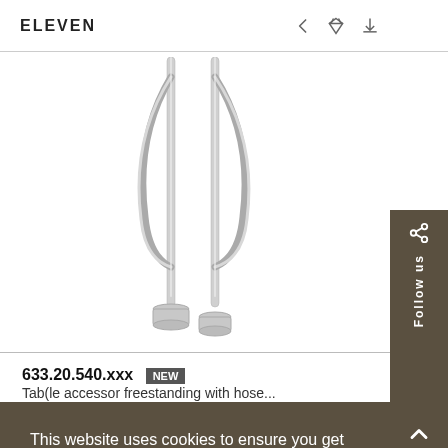ELEVEN
[Figure (photo): Chrome freestanding bath filler / shower mixer with flexible hoses and two floor-mount bases, photographed on white background, partially cropped at top]
633.20.540.xxx NEW
Tab(le accessor freestanding with hose...)
This website uses cookies to ensure you get the best experience on our website. Learn more
Got it!